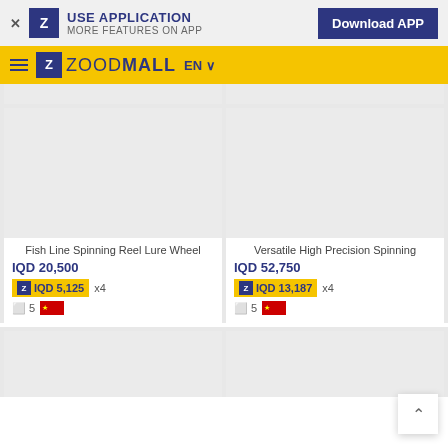USE APPLICATION MORE FEATURES ON APP | Download APP
ZOODMALL EN
[Figure (screenshot): Partial top of two product cards (image placeholders)]
Fish Line Spinning Reel Lure Wheel
IQD 20,500
IQD 5,125 x4
5 [China flag]
Versatile High Precision Spinning
IQD 52,750
IQD 13,187 x4
5 [China flag]
[Figure (screenshot): Bottom partial product card images (two cards cut off)]